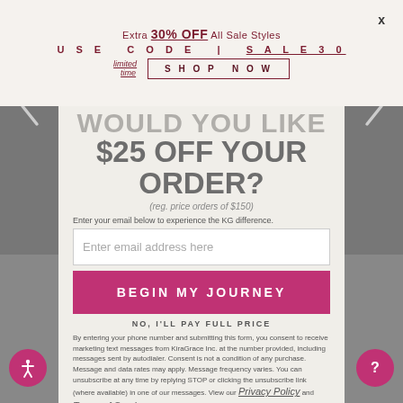Extra 30% OFF All Sale Styles USE CODE | SALE30 limited time SHOP NOW
WOULD YOU LIKE $25 OFF YOUR ORDER?
(reg. price orders of $150)
Enter your email below to experience the KG difference.
Enter email address here
BEGIN MY JOURNEY
NO, I'LL PAY FULL PRICE
By entering your phone number and submitting this form, you consent to receive marketing text messages from KiraGrace Inc. at the number provided, including messages sent by autodialer. Consent is not a condition of any purchase. Message and data rates may apply. Message frequency varies. You can unsubscribe at any time by replying STOP or clicking the unsubscribe link (where available) in one of our messages. View our Privacy Policy and Terms of Service.